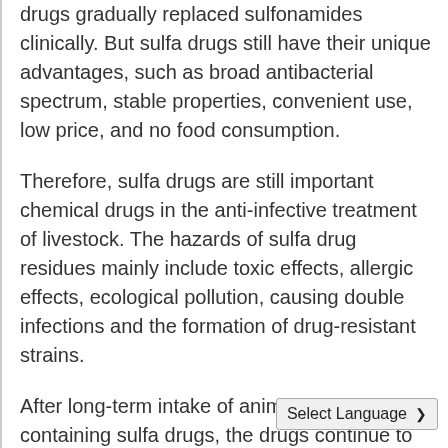drugs gradually replaced sulfonamides clinically. But sulfa drugs still have their unique advantages, such as broad antibacterial spectrum, stable properties, convenient use, low price, and no food consumption.
Therefore, sulfa drugs are still important chemical drugs in the anti-infective treatment of livestock. The hazards of sulfa drug residues mainly include toxic effects, allergic effects, ecological pollution, causing double infections and the formation of drug-resistant strains.
After long-term intake of animal foods containing sulfa drugs, the drugs continue to accumulate in the human body. When